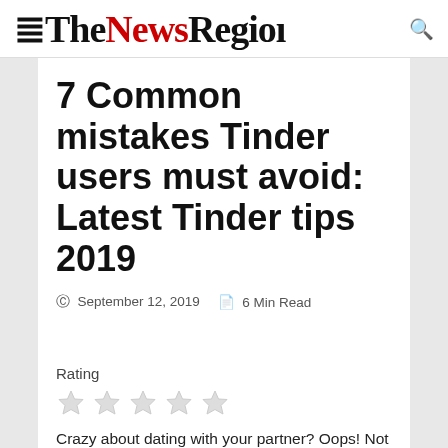TheNewsRegion
7 Common mistakes Tinder users must avoid: Latest Tinder tips 2019
September 12, 2019   6 Min Read
Rating
Crazy about dating with your partner? Oops! Not getting a suitable match. Here are some Tinder